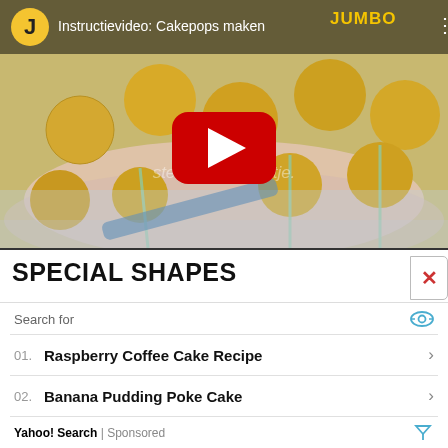[Figure (screenshot): YouTube video thumbnail for 'Instructievideo: Cakepops maken' showing yellow cake pops on a plate with sticks being inserted, Jumbo branding, YouTube play button overlay, watermark text 'steek in het gaatje.']
SPECIAL SHAPES
Search for
01.  Raspberry Coffee Cake Recipe
02.  Banana Pudding Poke Cake
Yahoo! Search | Sponsored